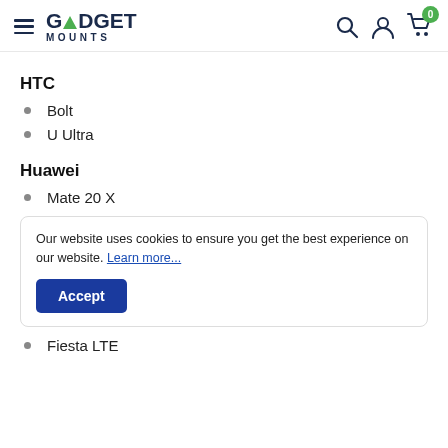Gadget Mounts — Navigation header with hamburger menu, logo, search icon, account icon, cart (0)
HTC
Bolt
U Ultra
Huawei
Mate 20 X
Our website uses cookies to ensure you get the best experience on our website. Learn more...
Accept
Fiesta LTE